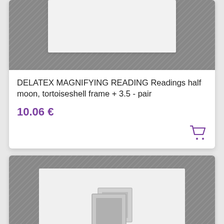[Figure (photo): Product listing card top - image placeholder with grey diagonal striped background and white rectangle]
DELATEX MAGNIFYING READING Readings half moon, tortoiseshell frame + 3.5 - pair
10.06 €
[Figure (screenshot): Second product card with grey diagonal striped background, white/light background inner rectangle with a no-image placeholder icon (two overlapping photo frames). A purple scroll-to-top button with chevron up arrow is visible on the right edge.]